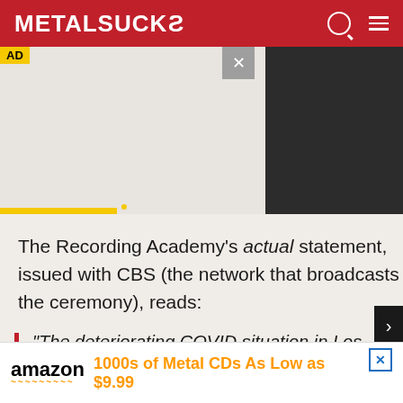MetalSucks
[Figure (screenshot): Advertisement overlay with grey box, close button, dark right panel, and yellow accent bar]
The Recording Academy's actual statement, issued with CBS (the network that broadcasts the ceremony), reads:
“The deteriorating COVID situation in Los Angeles, with surging cases now over
[Figure (screenshot): Amazon banner ad: 1000s of Metal CDs As Low as $9.99]